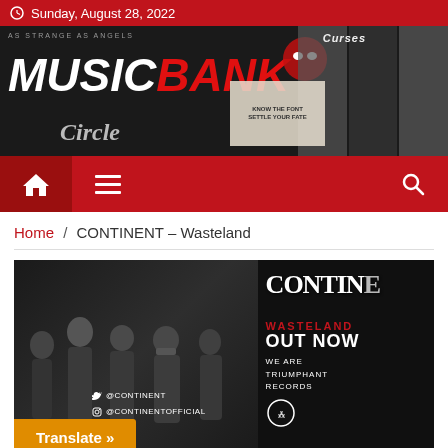Sunday, August 28, 2022
[Figure (illustration): MusicBank website banner with logo text 'MUSICBANK' in white and red italic font, with band imagery collage on the right, and 'Circle' subtitle text]
[Figure (illustration): Red navigation bar with home icon, hamburger menu icon, and search icon]
Home / CONTINENT – Wasteland
[Figure (photo): Black and white promo photo of band members with CONTINENT 'WASTELAND OUT NOW' text overlay in red and white, social handles @CONTINENT and @CONTINENTOFFICIAL visible. Translate button in orange overlay at bottom left.]